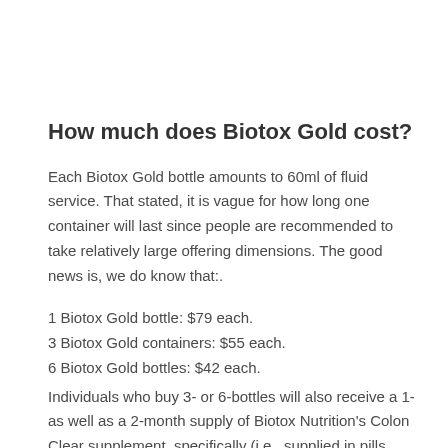How much does Biotox Gold cost?
Each Biotox Gold bottle amounts to 60ml of fluid service. That stated, it is vague for how long one container will last since people are recommended to take relatively large offering dimensions. The good news is, we do know that:.
1 Biotox Gold bottle: $79 each.
3 Biotox Gold containers: $55 each.
6 Biotox Gold bottles: $42 each.
Individuals who buy 3- or 6-bottles will also receive a 1- as well as a 2-month supply of Biotox Nutrition's Colon Clear supplement, specifically (i.e., supplied in pills form). Information on the